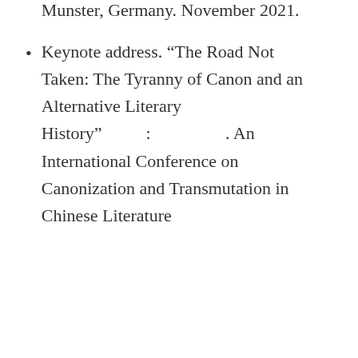University of Trier and University of Munster, Germany. November 2021.
Keynote address. “The Road Not Taken: The Tyranny of Canon and an Alternative Literary History”　　　　　: 　　　　　　　. An International Conference on Canonization and Transmutation in Chinese Literature